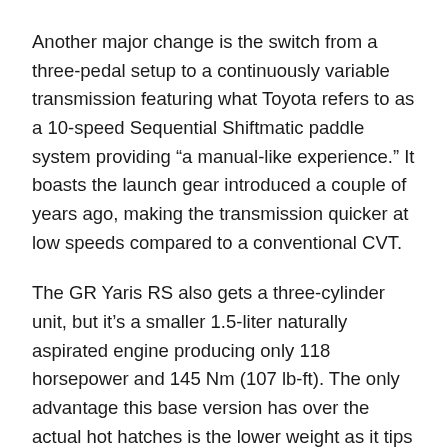Another major change is the switch from a three-pedal setup to a continuously variable transmission featuring what Toyota refers to as a 10-speed Sequential Shiftmatic paddle system providing “a manual-like experience.” It boasts the launch gear introduced a couple of years ago, making the transmission quicker at low speeds compared to a conventional CVT.
The GR Yaris RS also gets a three-cylinder unit, but it’s a smaller 1.5-liter naturally aspirated engine producing only 118 horsepower and 145 Nm (107 lb-ft). The only advantage this base version has over the actual hot hatches is the lower weight as it tips the scales at 1,130 kilograms (2,491 pounds). The midrange GR Yaris RC is 120 kg (265 lbs) heavier after adding the AWD-related hardware, while the range-topping GR Yaris RZ with its extra kit adds another 30 kg (66 lbs).
As a final note, it’s worth mentioning the GR Yaris sold in